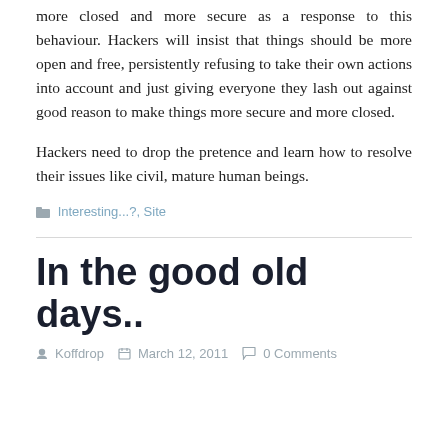more closed and more secure as a response to this behaviour. Hackers will insist that things should be more open and free, persistently refusing to take their own actions into account and just giving everyone they lash out against good reason to make things more secure and more closed.
Hackers need to drop the pretence and learn how to resolve their issues like civil, mature human beings.
Interesting...?, Site
In the good old days..
Koffdrop   March 12, 2011   0 Comments